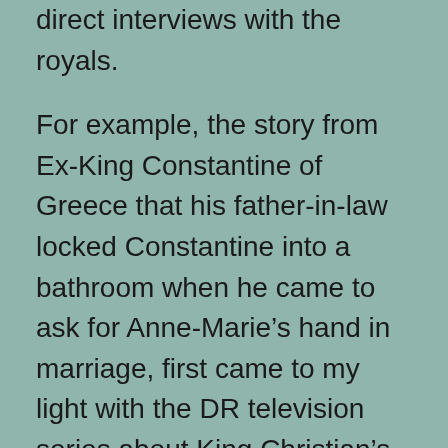direct interviews with the royals.
For example, the story from Ex-King Constantine of Greece that his father-in-law locked Constantine into a bathroom when he came to ask for Anne-Marie’s hand in marriage, first came to my light with the DR television series about King Christian’s descendants (or other biographies, for all I know). If Lundgren did not get his information from there, but from an interview with Constantine, it would have been good to have that cited in the material.